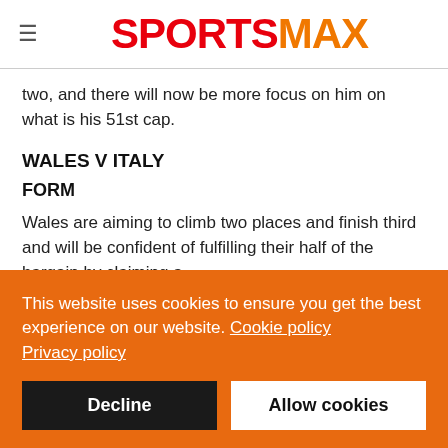SPORTSMAX
two, and there will now be more focus on him on what is his 51st cap.
WALES V ITALY
FORM
Wales are aiming to climb two places and finish third and will be confident of fulfilling their half of the bargain by claiming a
This website uses cookies to ensure you get the best experience on our website. Cookie policy
Privacy policy
Decline
Allow cookies